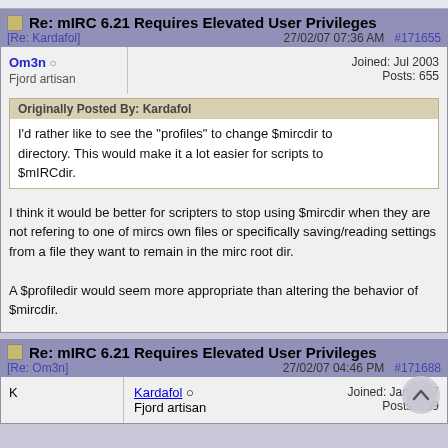Re: mIRC 6.21 Requires Elevated User Privileges
[Re: Kardafol]   27/02/07 07:36 AM   #171655
Om3n  Joined: Jul 2003
Fjord artisan  Posts: 655
Originally Posted By: Kardafol
I'd rather like to see the "profiles" to change $mircdir to  directory. This would make it a lot easier for scripts to  $mIRCdir.
I think it would be better for scripters to stop using $mircdir when they are not refering to one of mircs own files or specifically saving/reading settings from a file they want to remain in the mirc root dir.

A $profiledir would seem more appropriate than altering the behavior of $mircdir.
Re: mIRC 6.21 Requires Elevated User Privileges
[Re: Om3n]   27/02/07 04:46 PM   #171688
Kardafol  Joined: Jan 2007
Fjord artisan  Posts: 259